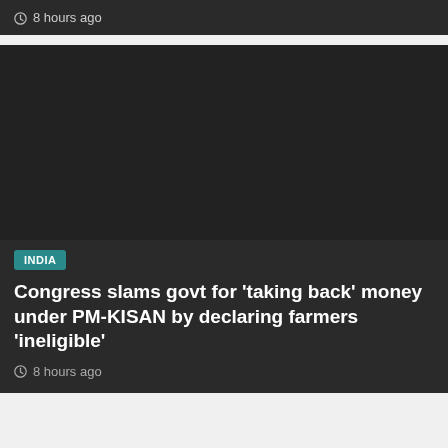8 hours ago
[Figure (screenshot): Dark news card with INDIA badge, headline about Congress slamming govt for PM-KISAN, and 8 hours ago timestamp]
FIND US ON SOCIALS
[Figure (infographic): Social media icons row: Facebook, Twitter, Instagram, YouTube, and a scroll-to-top button]